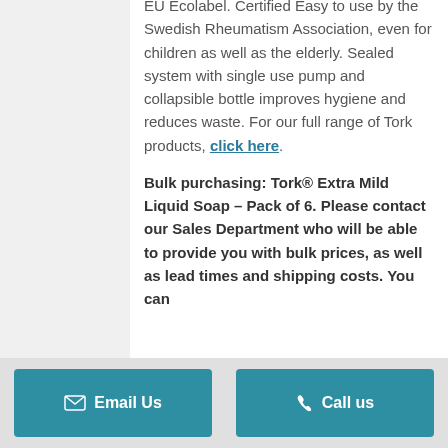EU Ecolabel. Certified Easy to use by the Swedish Rheumatism Association, even for children as well as the elderly. Sealed system with single use pump and collapsible bottle improves hygiene and reduces waste. For our full range of Tork products, click here.
Bulk purchasing: Tork® Extra Mild Liquid Soap – Pack of 6. Please contact our Sales Department who will be able to provide you with bulk prices, as well as lead times and shipping costs. You can
Email Us   Call us